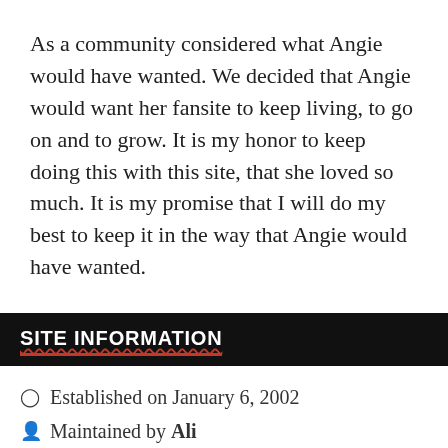As a community considered what Angie would have wanted. We decided that Angie would want her fansite to keep living, to go on and to grow. It is my honor to keep doing this with this site, that she loved so much. It is my promise that I will do my best to keep it in the way that Angie would have wanted.
SITE INFORMATION
Established on January 6, 2002
Maintained by Ali
Formerly Gertie, Mary & Angie
Hosted by WebHostPython / Cookies / Privacy